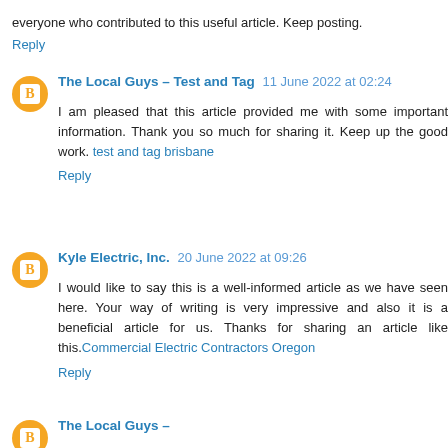everyone who contributed to this useful article. Keep posting.
Reply
The Local Guys – Test and Tag  11 June 2022 at 02:24
I am pleased that this article provided me with some important information. Thank you so much for sharing it. Keep up the good work. test and tag brisbane
Reply
Kyle Electric, Inc.  20 June 2022 at 09:26
I would like to say this is a well-informed article as we have seen here. Your way of writing is very impressive and also it is a beneficial article for us. Thanks for sharing an article like this.Commercial Electric Contractors Oregon
Reply
The Local Guys – (partial, cut off)